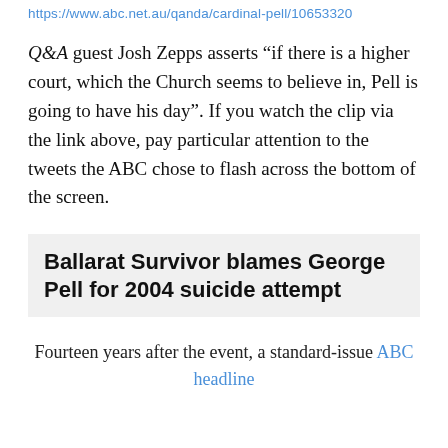https://www.abc.net.au/qanda/cardinal-pell/10653320
Q&A guest Josh Zepps asserts “if there is a higher court, which the Church seems to believe in, Pell is going to have his day”. If you watch the clip via the link above, pay particular attention to the tweets the ABC chose to flash across the bottom of the screen.
Ballarat Survivor blames George Pell for 2004 suicide attempt
Fourteen years after the event, a standard-issue ABC headline